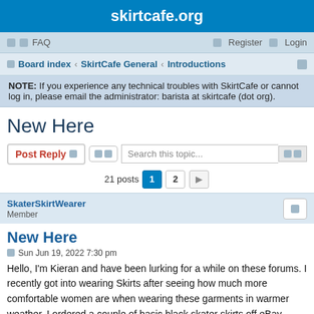skirtcafe.org
FAQ   Register   Login
Board index ‹ SkirtCafe General ‹ Introductions
NOTE: If you experience any technical troubles with SkirtCafe or cannot log in, please email the administrator: barista at skirtcafe (dot org).
New Here
Post Reply   Search this topic...   21 posts  1  2
SkaterSkirtWearer
Member
New Here
Sun Jun 19, 2022 7:30 pm
Hello, I'm Kieran and have been lurking for a while on these forums. I recently got into wearing Skirts after seeing how much more comfortable women are when wearing these garments in warmer weather. I ordered a couple of basic black skater skirts off eBay which originally were from